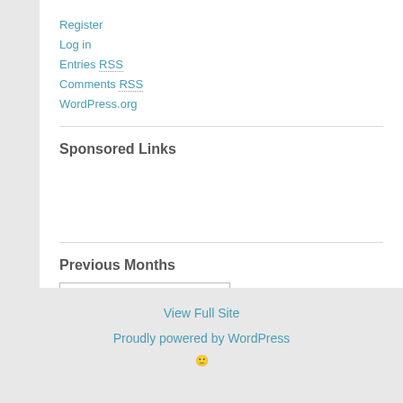Register
Log in
Entries RSS
Comments RSS
WordPress.org
Sponsored Links
Previous Months
Select Month (dropdown)
View Full Site
Proudly powered by WordPress